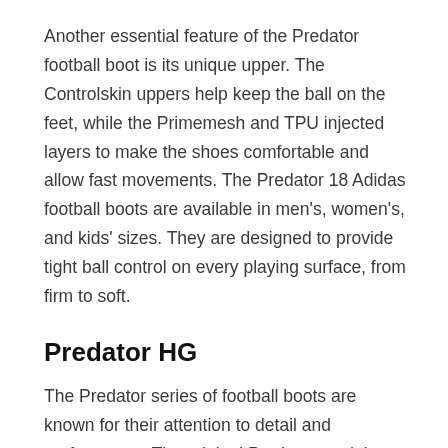Another essential feature of the Predator football boot is its unique upper. The Controlskin uppers help keep the ball on the feet, while the Primemesh and TPU injected layers to make the shoes comfortable and allow fast movements. The Predator 18 Adidas football boots are available in men's, women's, and kids' sizes. They are designed to provide tight ball control on every playing surface, from firm to soft.
Predator HG
The Predator series of football boots are known for their attention to detail and performance. The original Predator models focused on grip and touch, and the newer Predator adiPower improved on those qualities with a lighter weight, SprintFrame outsole. The new Predator boots also featured the same Powerspine technology, but a new silicone rubber zone was added to give you more control